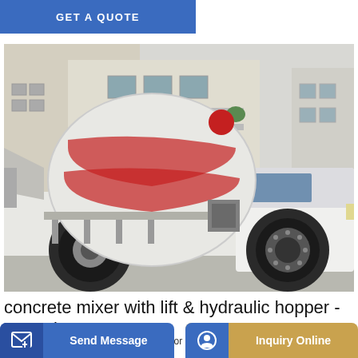GET A QUOTE
[Figure (photo): A white concrete mixer truck with red stripe bands on the drum, mounted on a white truck chassis with black wheels, parked in front of a building. The mixer drum is large and cylindrical, with a red ball on top. The truck faces right.]
concrete mixer with lift & hydraulic hopper - YouTube
Portable and Towable Concrete Mixers for Rent | United Rentals
Send Message
Inquiry Online